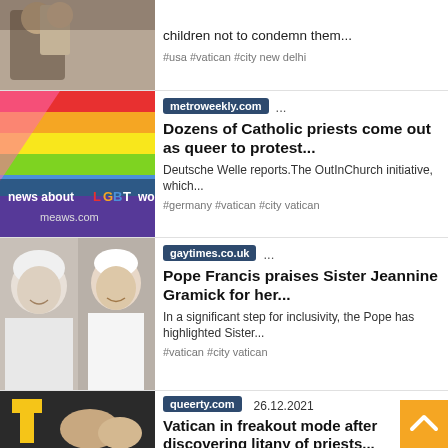[Figure (photo): Partial photo of two people, one wearing religious garb]
children not to condemn them...
#usa #vatican #city new delhi
[Figure (photo): Rainbow/LGBT pride flag with text overlay: news about LGBT wor, meaws.com]
metroweekly.com ...
Dozens of Catholic priests come out as queer to protest...
Deutsche Welle reports.The OutInChurch initiative, which...
#germany #vatican #city vatican
[Figure (photo): Two people: an older woman with short white hair and a man in white robes (Pope Francis)]
gaytimes.co.uk ...
Pope Francis praises Sister Jeannine Gramick for her...
In a significant step for inclusivity, the Pope has highlighted Sister...
#vatican #city vatican
[Figure (photo): Person in black robe with yellow cross symbol]
queerty.com  26.12.2021
Vatican in freakout mode after discovering litany of priests...